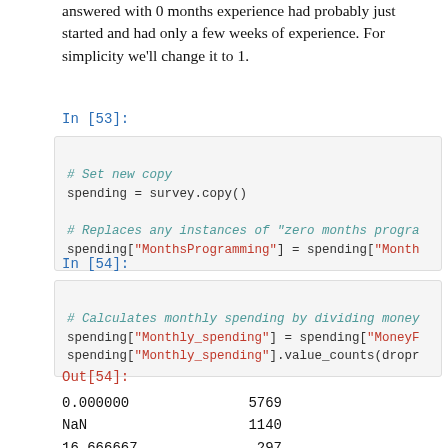answered with 0 months experience had probably just started and had only a few weeks of experience. For simplicity we'll change it to 1.
In [53]:
# Set new copy
spending = survey.copy()

# Replaces any instances of "zero months progra
spending["MonthsProgramming"] = spending["Montr
In [54]:
# Calculates monthly spending by dividing money
spending["Monthly_spending"] = spending["MoneyF
spending["Monthly_spending"].value_counts(dropr
Out[54]:
| 0.000000 | 5769 |
| NaN | 1140 |
| 16.666667 | 297 |
| 50.000000 | 264 |
| 100.000000 | 246 |
| ... |  |